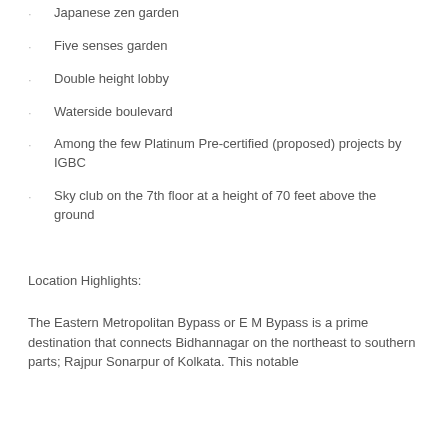Japanese zen garden
Five senses garden
Double height lobby
Waterside boulevard
Among the few Platinum Pre-certified (proposed) projects by IGBC
Sky club on the 7th floor at a height of 70 feet above the ground
Location Highlights:
The Eastern Metropolitan Bypass or E M Bypass is a prime destination that connects Bidhannagar on the northeast to southern parts; Rajpur Sonarpur of Kolkata. This notable